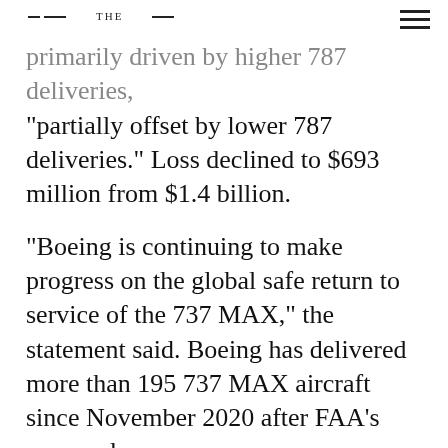THE
primarily driven by higher 787 deliveries, "partially offset by lower 787 deliveries." Loss declined to $693 million from $1.4 billion.
"Boeing is continuing to make progress on the global safe return to service of the 737 MAX," the statement said. Boeing has delivered more than 195 737 MAX aircraft since November 2020 after FAA's approval.
Airlines have returned more than 200 previously grounded airplanes to service. "31 airlines are now operating the 737 MAX, safely flying over 206,000 revenue flights